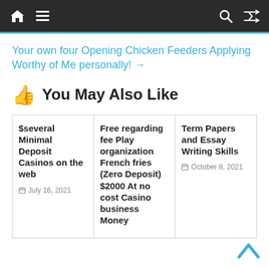Navigation bar with home, menu, search, and shuffle icons
Your own four Opening Chicken Feeders Applying Worthy of Me personally! →
👍 You May Also Like
$several Minimal Deposit Casinos on the web
July 16, 2021
Free regarding fee Play organization French fries (Zero Deposit) $2000 At no cost Casino business Money
Term Papers and Essay Writing Skills
October 8, 2021